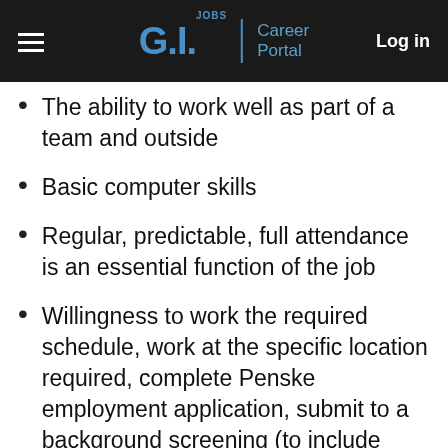G.I. Jobs | Career Portal  Log in
The ability to work well as part of a team and outside
Basic computer skills
Regular, predictable, full attendance is an essential function of the job
Willingness to work the required schedule, work at the specific location required, complete Penske employment application, submit to a background screening (to include criminal checks, past employment and education), the ability to